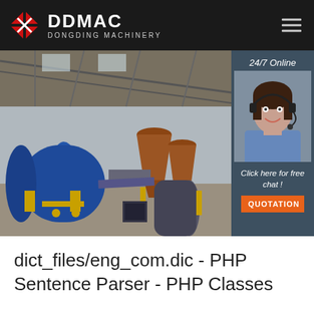[Figure (logo): DDMAC Dongding Machinery logo with red geometric icon and white text on dark background, with hamburger menu icon]
[Figure (photo): Industrial factory interior showing machinery with large blue rotary drum dryer, brown cyclone separators, pipes and yellow support frames on a concrete floor under a metal roof]
[Figure (photo): 24/7 Online chat panel: dark teal background showing agent photo of woman with headset smiling, text 'Click here for free chat!' and orange QUOTATION button]
dict_files/eng_com.dic - PHP Sentence Parser - PHP Classes